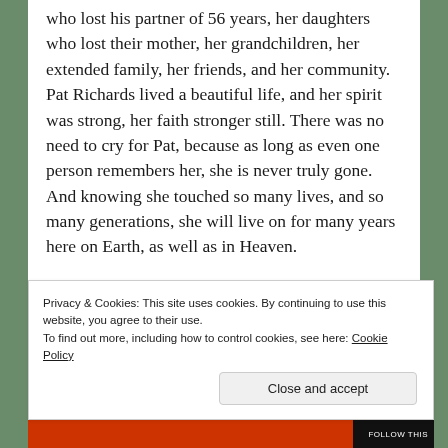who lost his partner of 56 years, her daughters who lost their mother, her grandchildren, her extended family, her friends, and her community. Pat Richards lived a beautiful life, and her spirit was strong, her faith stronger still. There was no need to cry for Pat, because as long as even one person remembers her, she is never truly gone. And knowing she touched so many lives, and so many generations, she will live on for many years here on Earth, as well as in Heaven.
Privacy & Cookies: This site uses cookies. By continuing to use this website, you agree to their use. To find out more, including how to control cookies, see here: Cookie Policy
Close and accept